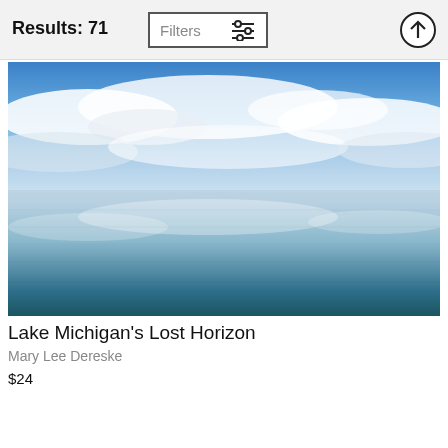Results: 71
Filters
[Figure (photo): Aerial photograph of Lake Michigan showing a calm expanse of water reflecting blue sky and wispy white clouds, with a subtle horizon line blending sky and water.]
Lake Michigan's Lost Horizon
Mary Lee Dereske
$24